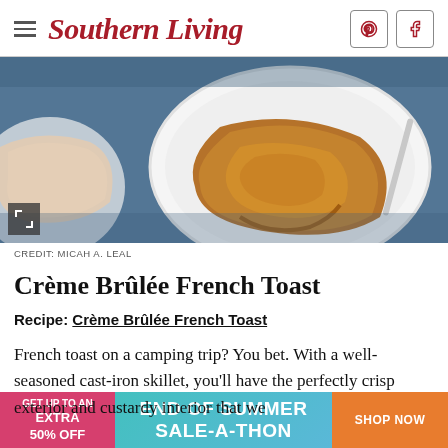Southern Living
[Figure (photo): Overhead photo of French toast on a white plate with a fork, placed on a blue denim-colored surface. Another piece of French toast is partially visible at the left edge.]
CREDIT: MICAH A. LEAL
Crème Brûlée French Toast
Recipe: Crème Brûlée French Toast
French toast on a camping trip? You bet. With a well-seasoned cast-iron skillet, you'll have the perfectly crisp exterior and custardy interior that we all lo…
[Figure (infographic): Advertisement banner: GET UP TO AN EXTRA 50% OFF — END OF SUMMER SALE-A-THON — SHOP NOW]